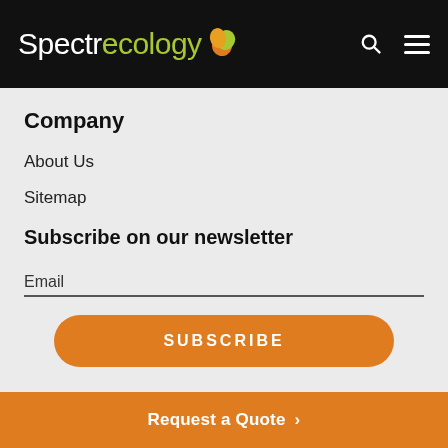SpectrecoLogy
Company
About Us
Sitemap
Subscribe on our newsletter
Email
SUBSCRIBE
Request a Quote >